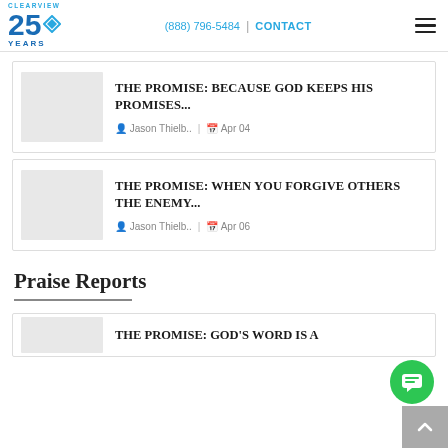CLEARVIEW 25 YEARS | (888) 796-5484 | CONTACT
THE PROMISE: BECAUSE GOD KEEPS HIS PROMISES...
Jason Thielb.. | Apr 04
THE PROMISE: WHEN YOU FORGIVE OTHERS THE ENEMY...
Jason Thielb.. | Apr 06
Praise Reports
THE PROMISE: GOD'S WORD IS A